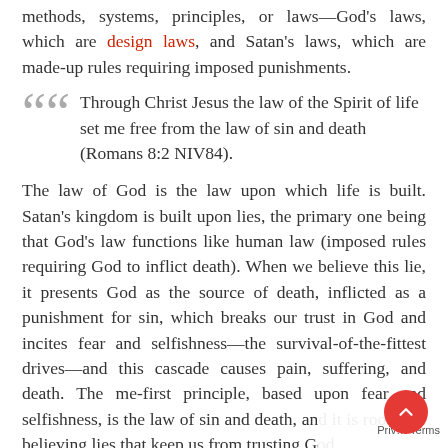methods, systems, principles, or laws—God's laws, which are design laws, and Satan's laws, which are made-up rules requiring imposed punishments.
Through Christ Jesus the law of the Spirit of life set me free from the law of sin and death (Romans 8:2 NIV84).
The law of God is the law upon which life is built. Satan's kingdom is built upon lies, the primary one being that God's law functions like human law (imposed rules requiring God to inflict death). When we believe this lie, it presents God as the source of death, inflicted as a punishment for sin, which breaks our trust in God and incites fear and selfishness—the survival-of-the-fittest drives—and this cascade causes pain, suffering, and death. The me-first principle, based upon fear and selfishness, is the law of sin and death, and it is rooted in believing lies that keep us from trusting God.
Prior to sin, there was no sickness, woundedness, brokenness, pain, suffering, or death. Prior to sin, there were no thorns to wound, ferocious beasts to